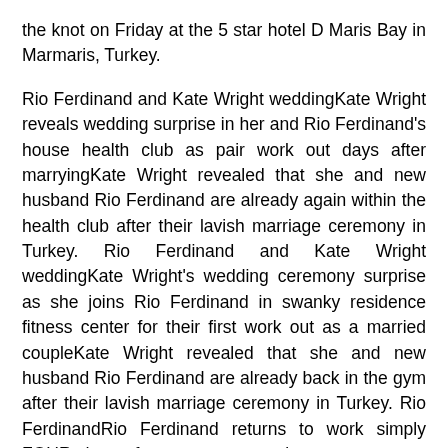the knot on Friday at the 5 star hotel D Maris Bay in Marmaris, Turkey.
Rio Ferdinand and Kate Wright weddingKate Wright reveals wedding surprise in her and Rio Ferdinand’s house health club as pair work out days after marryingKate Wright revealed that she and new husband Rio Ferdinand are already again within the health club after their lavish marriage ceremony in Turkey. Rio Ferdinand and Kate Wright weddingKate Wright’s wedding ceremony surprise as she joins Rio Ferdinand in swanky residence fitness center for their first work out as a married coupleKate Wright revealed that she and new husband Rio Ferdinand are already back in the gym after their lavish marriage ceremony in Turkey. Rio FerdinandRio Ferdinand returns to work simply FOUR days after gorgeous marriage ceremony to Kate WrightRio Ferdinand married spouse Kate Wright in a shocking Turkish ceremony on Friday. Rio Ferdinand and Kate Wright weddingRio Ferdinand and Kate Wright dance at their wedding ceremony in newly-